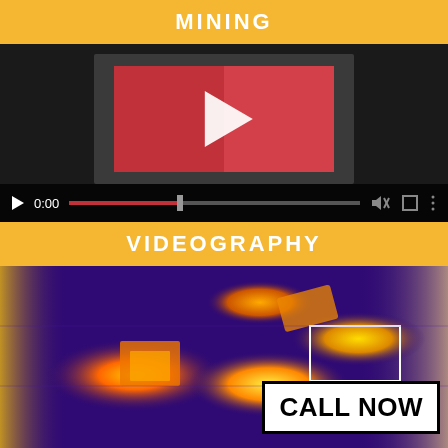MINING
[Figure (screenshot): Video player showing a red play button thumbnail with playback controls including play button, time display 0:00, progress bar, mute, fullscreen, and options icons on a dark background.]
VIDEOGRAPHY
[Figure (photo): Thermal infrared image showing industrial/mining equipment from above with orange, yellow, and purple heat signatures. A white box with bold black text reading CALL NOW is overlaid in the bottom right corner.]